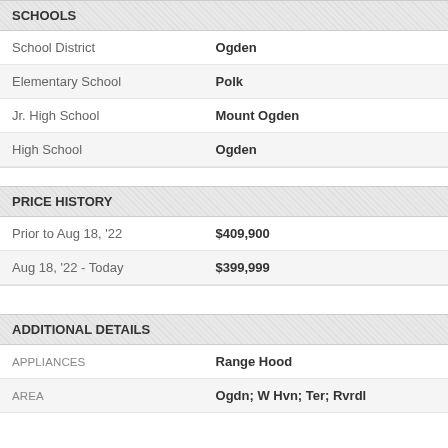SCHOOLS
| Field | Value |
| --- | --- |
| School District | Ogden |
| Elementary School | Polk |
| Jr. High School | Mount Ogden |
| High School | Ogden |
PRICE HISTORY
| Period | Price |
| --- | --- |
| Prior to Aug 18, '22 | $409,900 |
| Aug 18, '22 - Today | $399,999 |
ADDITIONAL DETAILS
| Field | Value |
| --- | --- |
| APPLIANCES | Range Hood |
| AREA | Ogdn; W Hvn; Ter; Rvrdl |